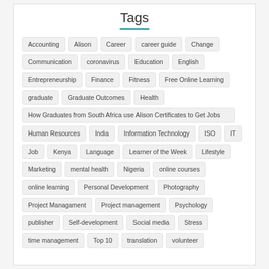Tags
Accounting
Alison
Career
career guide
Change
Communication
coronavirus
Education
English
Entrepreneurship
Finance
Fitness
Free Online Learning
graduate
Graduate Outcomes
Health
How Graduates from South Africa use Alison Certificates to Get Jobs
Human Resources
India
Information Technology
ISO
IT
Job
Kenya
Language
Learner of the Week
Lifestyle
Marketing
mental health
Nigeria
online courses
online learning
Personal Development
Photography
Project Managament
Project management
Psychology
publisher
Self-development
Social media
Stress
time management
Top 10
translation
volunteer